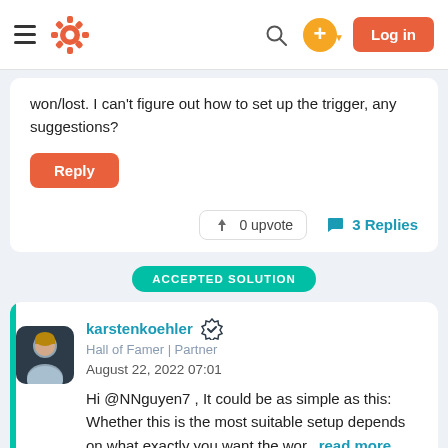[Figure (screenshot): HubSpot community forum page header navigation bar with hamburger menu, HubSpot logo, search icon, plus button, and Log in button]
won/lost. I can't figure out how to set up the trigger, any suggestions?
Reply
0 upvote   3 Replies
ACCEPTED SOLUTION
[Figure (photo): Profile photo of a young man in a light blue shirt]
karstenkoehler  Hall of Famer | Partner  August 22, 2022 07:01  Hi @NNguyen7 , It could be as simple as this: Whether this is the most suitable setup depends on what exactly you want the wor...read more